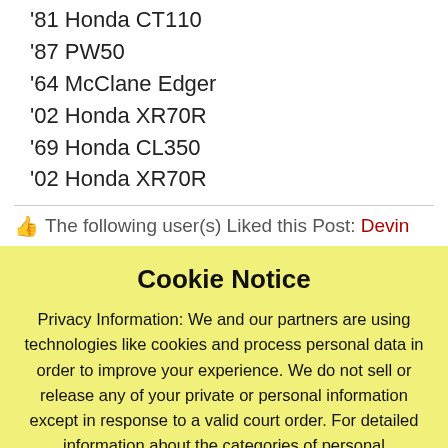'81 Honda CT110
'87 PW50
'64 McClane Edger
'02 Honda XR70R
'69 Honda CL350
'02 Honda XR70R
The following user(s) Liked this Post: Devin
Cookie Notice
Privacy Information: We and our partners are using technologies like cookies and process personal data in order to improve your experience. We do not sell or release any of your private or personal information except in response to a valid court order. For detailed information about the categories of personal information we collect and the purposes for which information may be used and which Data Processing Services may have access to this information please click on 'Privacy Policy".
Privacy Policy | Accept